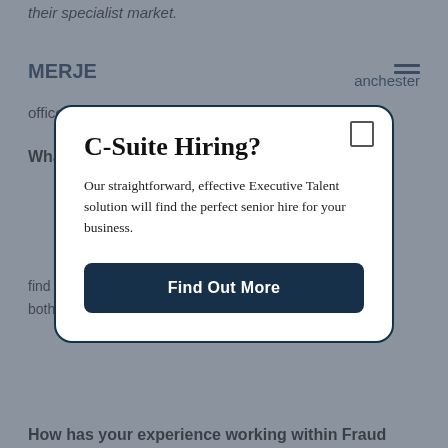their specialist market.
MERJE
anchester office.
What do yo
This website uses cookies to ensure
find the right Candidates and understanding the needs of both sides.
How has your experience working within Fraud
[Figure (screenshot): Modal dialog popup over a dimmed webpage background. The modal contains the heading 'C-Suite Hiring?', a description 'Our straightforward, effective Executive Talent solution will find the perfect senior hire for your business.', and a dark navy 'Find Out More' button. A close icon (rectangle outline) appears in the top-right corner of the modal. The background shows a recruitment website with a MERJE logo, partial navigation, and body text.]